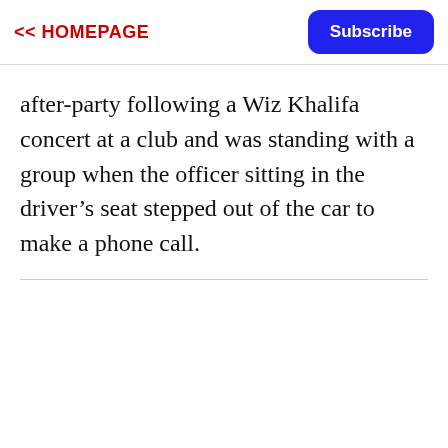<< HOMEPAGE
after-party following a Wiz Khalifa concert at a club and was standing with a group when the officer sitting in the driver’s seat stepped out of the car to make a phone call.